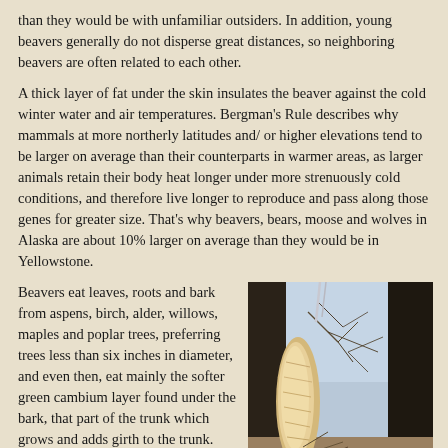than they would be with unfamiliar outsiders. In addition, young beavers generally do not disperse great distances, so neighboring beavers are often related to each other.
A thick layer of fat under the skin insulates the beaver against the cold winter water and air temperatures. Bergman's Rule describes why mammals at more northerly latitudes and/ or higher elevations tend to be larger on average than their counterparts in warmer areas, as larger animals retain their body heat longer under more strenuously cold conditions, and therefore live longer to reproduce and pass along those genes for greater size. That's why beavers, bears, moose and wolves in Alaska are about 10% larger on average than they would be in Yellowstone.
Beavers eat leaves, roots and bark from aspens, birch, alder, willows, maples and poplar trees, preferring trees less than six inches in diameter, and even then, eat mainly the softer green cambium layer found under the bark, that part of the trunk which grows and adds girth to the trunk. Beaver also eat aquatic plants like water lillys.
[Figure (photo): A tree trunk showing beaver damage — the bark has been gnawed away in a large area, exposing the pale wood beneath. Bare winter branches and a light sky are visible in the background.]
More than any other mammal, the industrious and hard working beavers have the greatest impact